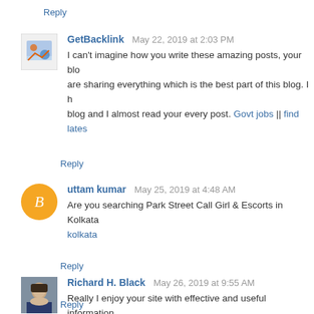Reply
GetBacklink  May 22, 2019 at 2:03 PM
I can't imagine how you write these amazing posts, your blo... are sharing everything which is the best part of this blog. I h... blog and I almost read your every post. Govt jobs || find lates...
Reply
uttam kumar  May 25, 2019 at 4:48 AM
Are you searching Park Street Call Girl & Escorts in Kolkata  kolkata
Reply
Richard H. Black  May 26, 2019 at 9:55 AM
Really I enjoy your site with effective and useful information. with a lot of our resources.thanks for share. i enjoy this post.
Reply